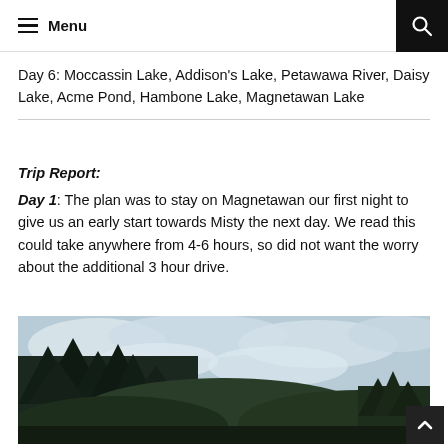Menu [hamburger icon] | [search icon]
Day 6: Moccassin Lake, Addison's Lake, Petawawa River, Daisy Lake, Acme Pond, Hambone Lake, Magnetawan Lake
Trip Report:
Day 1: The plan was to stay on Magnetawan our first night to give us an early start towards Misty the next day. We read this could take anywhere from 4-6 hours, so did not want the worry about the additional 3 hour drive.
[Figure (photo): Landscape photo showing dark silhouetted trees against a bright cloudy sky, with forested hills in the background.]